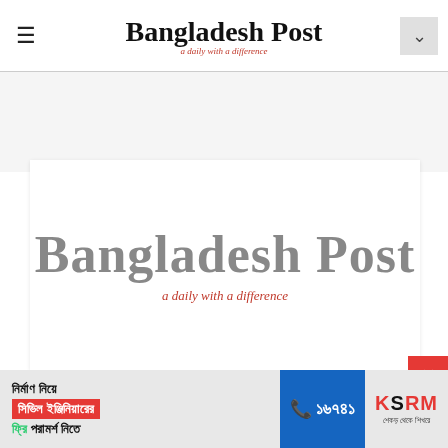Bangladesh Post — a daily with a difference
[Figure (logo): Bangladesh Post newspaper logo — large blackletter text 'Bangladesh Post' with red italic tagline 'a daily with a difference' on white background]
[Figure (photo): Advertisement banner for KSRM civil engineering consultation: Bengali text 'নির্মাণ নিয়ে সিভিল ইঞ্জিনিয়ারের ফ্রি পরামর্শ নিতে', phone number 16741, KSRM logo with tagline]